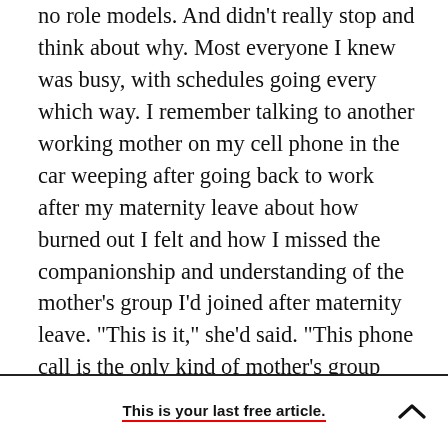no role models. And didn't really stop and think about why. Most everyone I knew was busy, with schedules going every which way. I remember talking to another working mother on my cell phone in the car weeping after going back to work after my maternity leave about how burned out I felt and how I missed the companionship and understanding of the mother's group I'd joined after maternity leave. “This is it,” she’d said. “This phone call is the only kind of mother’s group you’re going to get now.”
This is your last free article.